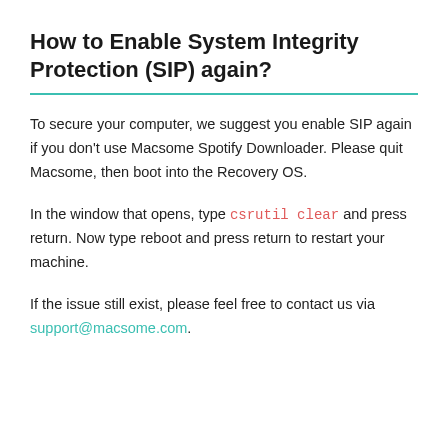How to Enable System Integrity Protection (SIP) again?
To secure your computer, we suggest you enable SIP again if you don't use Macsome Spotify Downloader. Please quit Macsome, then boot into the Recovery OS.
In the window that opens, type csrutil clear and press return. Now type reboot and press return to restart your machine.
If the issue still exist, please feel free to contact us via support@macsome.com.